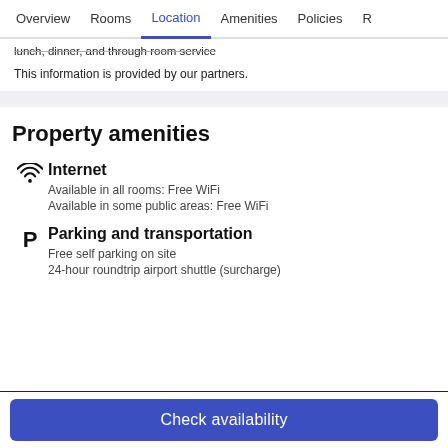Overview  Rooms  Location  Amenities  Policies  R
lunch, dinner, and through room service
This information is provided by our partners.
Property amenities
Internet
Available in all rooms: Free WiFi
Available in some public areas: Free WiFi
Parking and transportation
Free self parking on site
24-hour roundtrip airport shuttle (surcharge)
Check availability